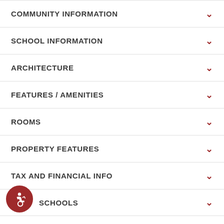COMMUNITY INFORMATION
SCHOOL INFORMATION
ARCHITECTURE
FEATURES / AMENITIES
ROOMS
PROPERTY FEATURES
TAX AND FINANCIAL INFO
SCHOOLS